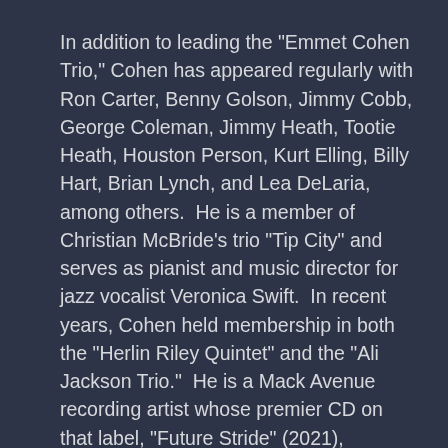In addition to leading the "Emmet Cohen Trio," Cohen has appeared regularly with Ron Carter, Benny Golson, Jimmy Cobb, George Coleman, Jimmy Heath, Tootie Heath, Houston Person, Kurt Elling, Billy Hart, Brian Lynch, and Lea DeLaria, among others.  He is a member of Christian McBride's trio "Tip City" and serves as pianist and music director for jazz vocalist Veronica Swift.  In recent years, Cohen held membership in both the "Herlin Riley Quintet" and the "Ali Jackson Trio."  He is a Mack Avenue recording artist whose premier CD on that label, "Future Stride" (2021), features contemporary stars Marquis Hill and Melissa Aldana.  Cohen's other recordings include "Masters Legacy Series Volume 4: George Coleman" (2019); "Masters Legacy Series Volume 3: Benny